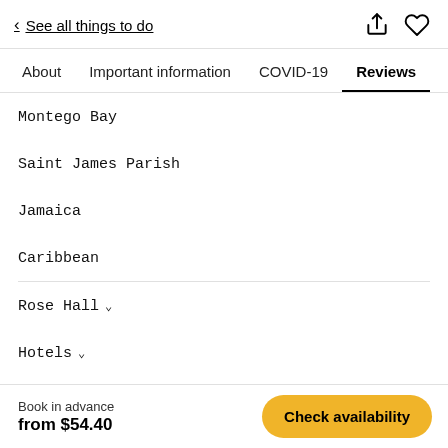< See all things to do
About  Important information  COVID-19  Reviews
Montego Bay
Saint James Parish
Jamaica
Caribbean
Rose Hall
Hotels
Book in advance
from $54.40
Check availability